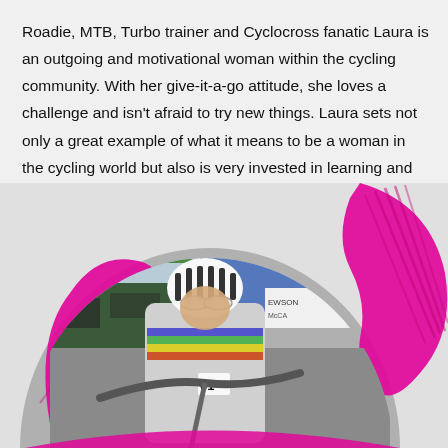Roadie, MTB, Turbo trainer and Cyclocross fanatic Laura is an outgoing and motivational woman within the cycling community. With her give-it-a-go attitude, she loves a challenge and isn't afraid to try new things. Laura sets not only a great example of what it means to be a woman in the cycling world but also is very invested in learning and evolving herself. We are very proud to call her a Cycle Revolution Ambassador.
[Figure (photo): A woman cyclist wearing a white helmet and rainbow-striped jersey with race number 61, riding a cyclocross bike. Background shows event tents and vehicles. Decorative magenta/pink graphic elements overlay the circular-cropped photo.]